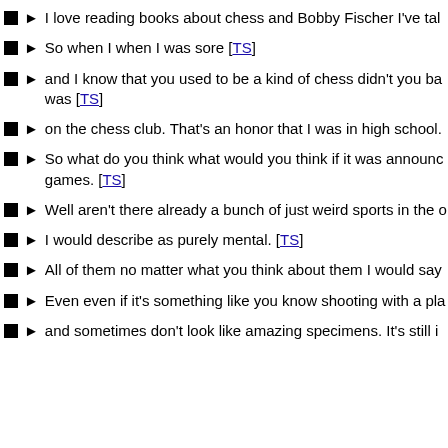I love reading books about chess and Bobby Fischer I've tal
So when I when I was sore [TS]
and I know that you used to be a kind of chess didn't you ba was [TS]
on the chess club. That's an honor that I was in high school.
So what do you think what would you think if it was announc games. [TS]
Well aren't there already a bunch of just weird sports in the o
I would describe as purely mental. [TS]
All of them no matter what you think about them I would say
Even even if it's something like you know shooting with a pla
and sometimes don't look like amazing specimens. It's still i